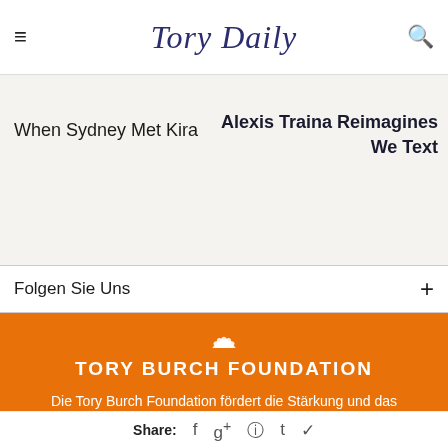Tory Daily
When Sydney Met Kira
Alexis Traina Reimagines How We Text
Folgen Sie Uns
TORY BURCH FOUNDATION
Die Tory Burch Foundation fördert die Stärkung und das
Share: f g+ p t bird